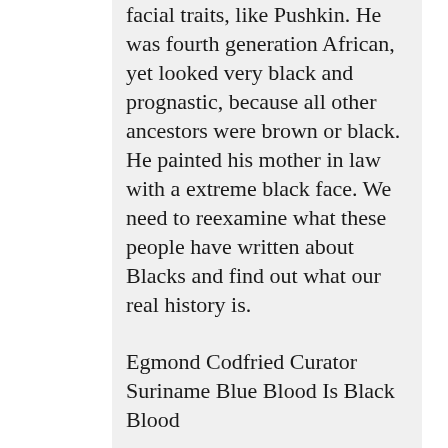facial traits, like Pushkin. He was fourth generation African, yet looked very black and prognastic, because all other ancestors were brown or black. He painted his mother in law with a extreme black face. We need to reexamine what these people have written about Blacks and find out what our real history is.
Egmond Codfried Curator Suriname Blue Blood Is Black Blood